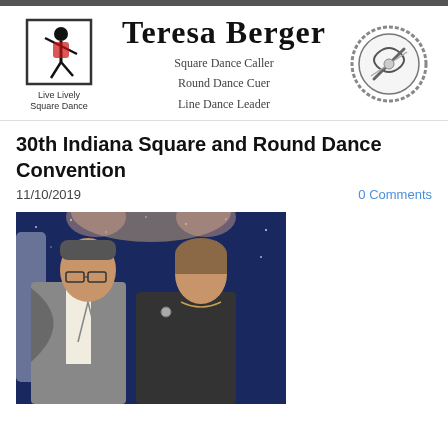Teresa Berger — Square Dance Caller, Round Dance Cuer, Line Dance Leader
30th Indiana Square and Round Dance Convention
11/10/2019
0 Comments
[Figure (photo): A man and woman in square dance attire posing in front of a decorative floral background with blue starry backdrop.]